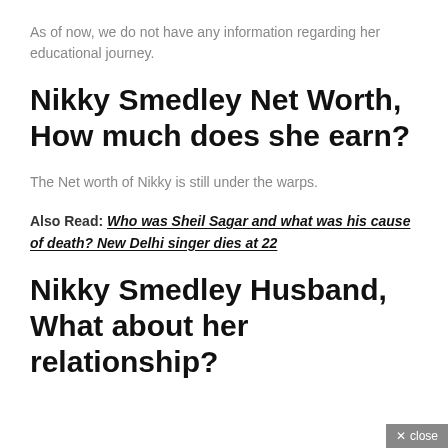As of now, we do not have any information regarding her educational journey.
Nikky Smedley Net Worth, How much does she earn?
The Net worth of Nikky is still under the warps.
Also Read: Who was Sheil Sagar and what was his cause of death? New Delhi singer dies at 22
Nikky Smedley Husband, What about her relationship?